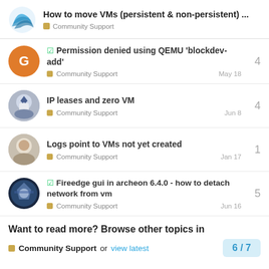How to move VMs (persistent & non-persistent) ... Community Support
Permission denied using QEMU 'blockdev-add' | Community Support | May 18 | 4 replies
IP leases and zero VM | Community Support | Jun 8 | 4 replies
Logs point to VMs not yet created | Community Support | Jan 17 | 1 reply
Fireedge gui in archeon 6.4.0 - how to detach network from vm | Community Support | Jun 16 | 5 replies
Want to read more? Browse other topics in Community Support or view latest 6 / 7